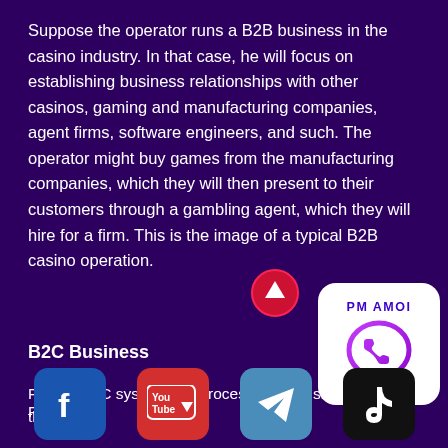Suppose the operator runs a B2B business in the casino industry. In that case, he will focus on establishing business relationships with other casinos, gaming and manufacturing companies, agent firms, software engineers, and such. The operator might buy games from the manufacturing companies, which they will then present to their customers through a gambling agent, which they will hire for a firm. This is the image of a typical B2B casino operation.
[Figure (other): Red circular scroll-to-top button with upward arrow]
[Figure (other): WhatsApp contact widget with PM AMOI label and WhatsApp logo in purple on white rounded rectangle background]
B2C Business
For the B2C system, the process is more simplified. though
Follow us:
[Figure (other): Social media icons row: Facebook, YouTube, Telegram, TikTok]